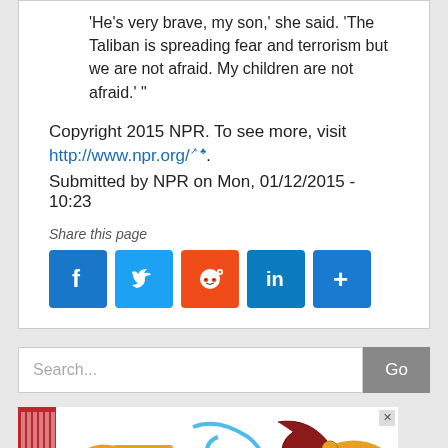'He's very brave, my son,' she said. 'The Taliban is spreading fear and terrorism but we are not afraid. My children are not afraid.' "
Copyright 2015 NPR. To see more, visit http://www.npr.org/.
Submitted by NPR on Mon, 01/12/2015 - 10:23
Share this page
[Figure (other): Social share buttons: Facebook, Twitter, Reddit, LinkedIn, More]
[Figure (other): Search bar with text input and Go button]
[Figure (illustration): Advertisement banner with colorful musical instruments illustration]